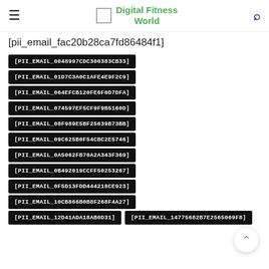Digital Fitness World
[pii_email_fac20b28ca7fd86484f1]
[PII_EMAIL_0048997CDC300383CB33]
[PII_EMAIL_01D7C3A0C1AFE4E9F2C9]
[PII_EMAIL_064EFCB120FE6F0D7DFA]
[PII_EMAIL_074597EF5CF9F9B5160D]
[PII_EMAIL_08F989E5BF25639B73BB]
[PII_EMAIL_09C625B0F54CBC2E5746]
[PII_EMAIL_0A5062FB70A2A343F369]
[PII_EMAIL_0B492019CCFF50253267]
[PII_EMAIL_0F5D13FDD444218CE923]
[PII_EMAIL_10CB866B0B8F268F4A27]
[PII_EMAIL_12D41ADA18AB0D31]
[PII_EMAIL_14775682B7E2565009F8]